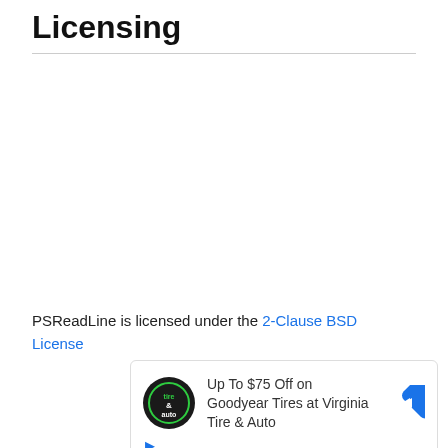Licensing
PSReadLine is licensed under the 2-Clause BSD License
[Figure (other): Advertisement banner: Up To $75 Off on Goodyear Tires at Virginia Tire & Auto, with Tire & Auto logo and navigation arrow icon]